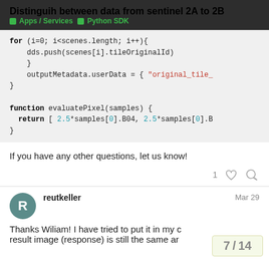Distinguih between data from sentinel 2A to 2B
Apps / Services   Python SDK
for (i=0; i<scenes.length; i++){
    dds.push(scenes[i].tileOriginalId)
}
outputMetadata.userData = { "original_tile_
}

function evaluatePixel(samples) {
  return [ 2.5*samples[0].B04, 2.5*samples[0].B
}
If you have any other questions, let us know!
1
reutkeller   Mar 29
Thanks Wiliam! I have tried to put it in my c... result image (response) is still the same ar...
7 / 14